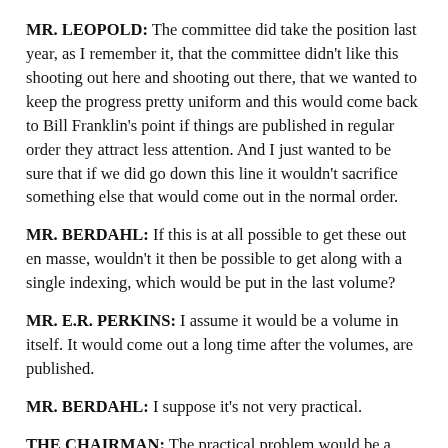MR. LEOPOLD: The committee did take the position last year, as I remember it, that the committee didn't like this shooting out here and shooting out there, that we wanted to keep the progress pretty uniform and this would come back to Bill Franklin's point if things are published in regular order they attract less attention. And I just wanted to be sure that if we did go down this line it wouldn't sacrifice something else that would come out in the normal order.
MR. BERDAHL: If this is at all possible to get these out en masse, wouldn't it then be possible to get along with a single indexing, which would be put in the last volume?
MR. E.R. PERKINS: I assume it would be a volume in itself. It would come out a long time after the volumes, are published.
MR. BERDAHL: I suppose it's not very practical.
THE CHAIRMAN: The practical problem would be a problem of clearance, wouldn't it?
MR. E.R. PERKINS: As far as our shop goes, it will be a clearance problem and there would be an index here. If a foreign